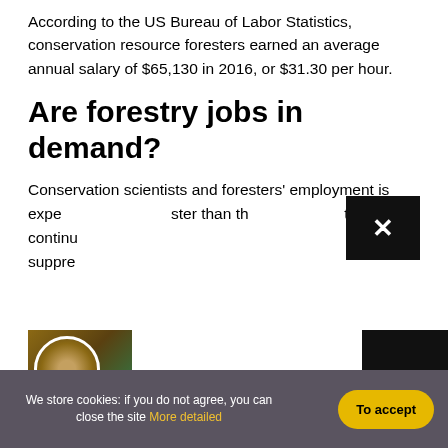According to the US Bureau of Labor Statistics, conservation resource foresters earned an average annual salary of $65,130 in 2016, or $31.30 per hour.
Are forestry jobs in demand?
Conservation scientists and foresters' employment is expected to grow faster than the average for the continual need to suppress...
[Figure (photo): Black popup/close button overlay with an X symbol]
[Figure (photo): Person wearing a hat in a forested outdoor setting, circular cropped photo]
[Figure (photo): Dark/night image with three white dots (menu indicator)]
We store cookies: if you do not agree, you can close the site More detailed